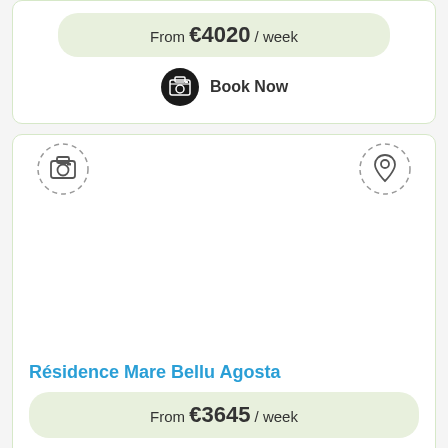From €4020 / week
Book Now
[Figure (screenshot): Rental listing card for Résidence Mare Bellu Agosta with camera icon, map pin icon, blank image area, property title, price, and Book Now button]
Résidence Mare Bellu Agosta
From €3645 / week
Book Now